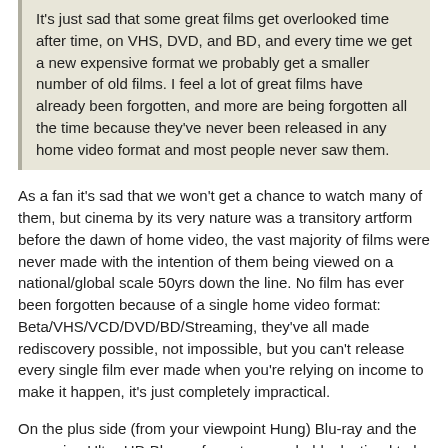It's just sad that some great films get overlooked time after time, on VHS, DVD, and BD, and every time we get a new expensive format we probably get a smaller number of old films. I feel a lot of great films have already been forgotten, and more are being forgotten all the time because they've never been released in any home video format and most people never saw them.
As a fan it's sad that we won't get a chance to watch many of them, but cinema by its very nature was a transitory artform before the dawn of home video, the vast majority of films were never made with the intention of them being viewed on a national/global scale 50yrs down the line. No film has ever been forgotten because of a single home video format: Beta/VHS/VCD/DVD/BD/Streaming, they've all made rediscovery possible, not impossible, but you can't release every single film ever made when you're relying on income to make it happen, it's just completely impractical.
On the plus side (from your viewpoint Hung) Blu-ray and the upcoming Ultra-HD Blu-ray format are probably destined to be the last physical medium for home cinema, and when we do eventually segue into an exclusively streamed industry we might see a lot of studios pumping out old, cheapo scans of their archives just to get new content out there (regardless of quality), but I can only see something like that happening if niche cinema takes off online and we get dedicated boutique or "classic" streaming services in the near future.